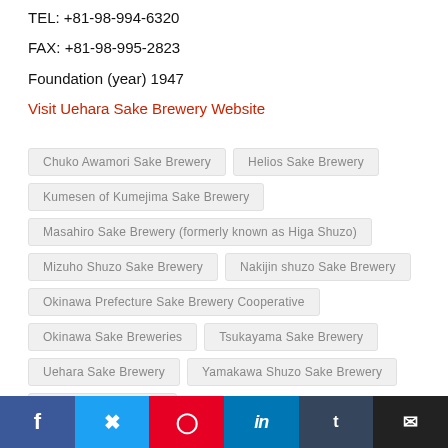TEL: +81-98-994-6320
FAX: +81-98-995-2823
Foundation (year) 1947
Visit Uehara Sake Brewery Website
Chuko Awamori Sake Brewery
Helios Sake Brewery
Kumesen of Kumejima Sake Brewery
Masahiro Sake Brewery (formerly known as  Higa Shuzo)
Mizuho Shuzo Sake Brewery
Nakijin shuzo Sake Brewery
Okinawa Prefecture Sake Brewery Cooperative
Okinawa Sake Breweries
Tsukayama Sake Brewery
Uehara Sake Brewery
Yamakawa Shuzo Sake Brewery
Zuisen Sake Brewery
[Figure (infographic): Social media share buttons: Facebook (blue), Twitter (light blue), Pinterest (red), LinkedIn (blue), Tumblr (dark blue), Email (black)]